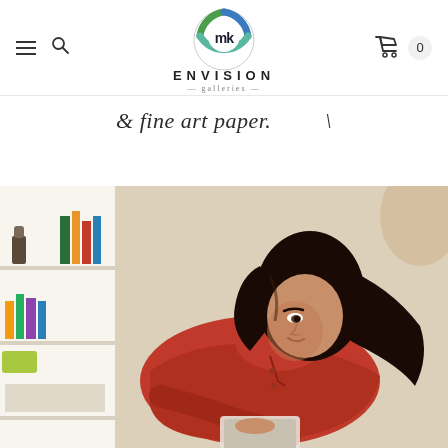mk ENVISION galleries — navigation header with hamburger menu, search icon, logo, cart icon with badge 0
& fine art paper.
[Figure (photo): Woman with dark hair wearing a red shirt, lying down and looking at a tablet device. Background shows a white bookshelf with books and decorative items, warm interior setting.]